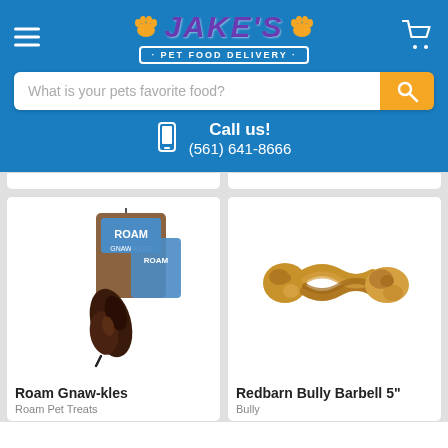Jake's Pet Food Delivery
What is your pets favorite food?
Call us!
(561) 641-8666
[Figure (photo): Roam Gnaw-kles dog treat product with packaging showing ROAM brand]
Roam Gnaw-kles
Roam Pet Treats
[Figure (photo): Redbarn Bully Barbell 5 inch braided dog chew treat]
Redbarn Bully Barbell 5"
Bully